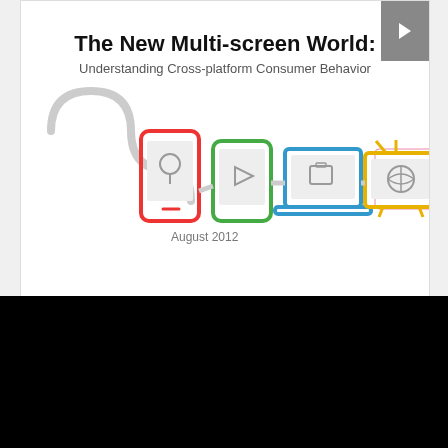[Figure (illustration): Cover image of 'The New Multi-screen World: Understanding Cross-platform Consumer Behavior' report by Google, August 2012. Shows icons of smartphone, tablet, laptop, and TV connected by a curved path.]
If Content Is King, Multiscreen Is The Queen, Says New Google Study
on August 30, 2012
0
[Figure (screenshot): Black rectangle, bottom video/embed area.]